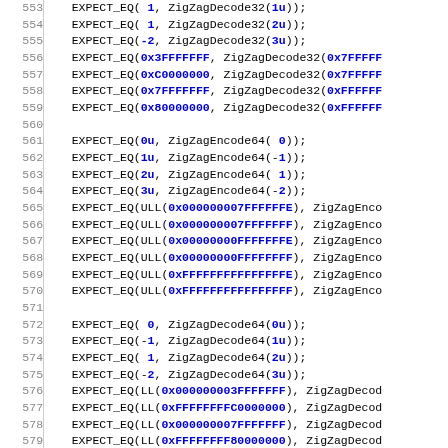Source code listing showing EXPECT_EQ calls for ZigZagDecode32, ZigZagEncode64, and ZigZagDecode64 test cases, lines 553-583
// Some easier to verify round trip tests...